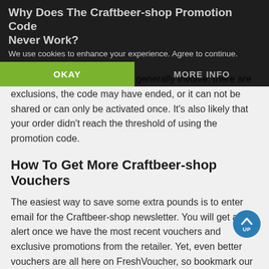Why Does The Craftbeer-shop Promotion Code Never Work?
We use cookies to enhance your experience. Agree to continue.
OKAY
MORE INFO
promotion code doesn't work generally involve: there are exclusions, the code may have ended, or it can not be shared or can only be activated once. It's also likely that your order didn't reach the threshold of using the promotion code.
How To Get More Craftbeer-shop Vouchers
The easiest way to save some extra pounds is to enter email for the Craftbeer-shop newsletter. You will get an alert once we have the most recent vouchers and exclusive promotions from the retailer. Yet, even better vouchers are all here on FreshVoucher, so bookmark our website now and save some extra pounds
Disclaimer & Endorsement
The Craftbeer-shop vouchers are shared by customers and they